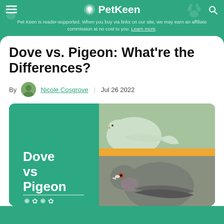Pet Keen
Pet Keen is reader-supported. When you buy via links on our site, we may earn an affiliate commission at no cost to you. Learn more.
Dove vs. Pigeon: What're the Differences?
By Nicole Cosgrove | Jul 26 2022
[Figure (photo): Composite image showing a white dove on the left and a grey pigeon on the right, with green background and yellow diagonal stripe. Text overlay reads 'Dove vs Pigeon' with paw print decorations.]